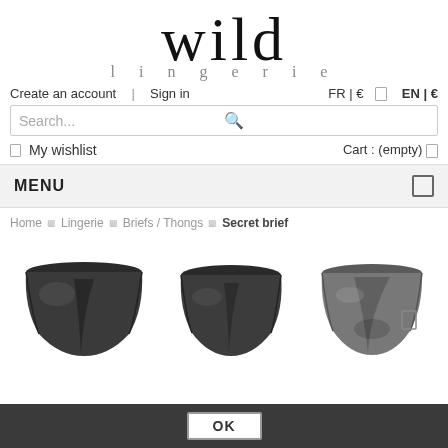[Figure (logo): Wild Lingerie brand logo with large 'wild' text and smaller 'lingerie' subtitle]
Create an account  |  Sign in
FR | € □  EN | €
Search...
My wishlist
Cart : (empty)
MENU
Home ▸ Lingerie ▸ Briefs / Thongs ▸ Secret brief
[Figure (photo): Three product images of black lingerie briefs shown from different angles - front-left, front-center, and back view]
OK